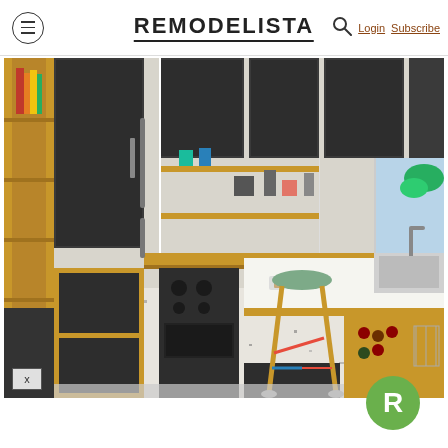REMODELISTA | Login Subscribe
[Figure (photo): Modern kitchen with dark grey cabinet doors and wooden frames, terrazzo floor, kitchen island with wine rack, bar stool with colorful legs, open shelving with kitchen items, large windows]
[Figure (logo): Remodelista green circle logo with white R letter]